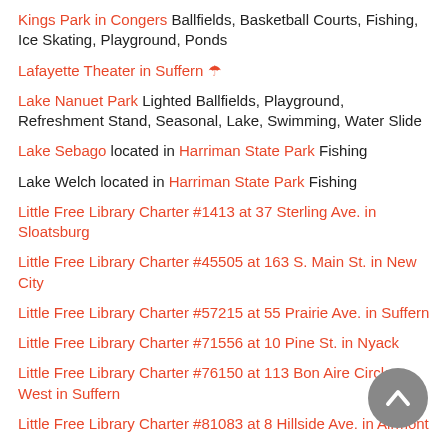Kings Park in Congers Ballfields, Basketball Courts, Fishing, Ice Skating, Playground, Ponds
Lafayette Theater in Suffern 🌂
Lake Nanuet Park Lighted Ballfields, Playground, Refreshment Stand, Seasonal, Lake, Swimming, Water Slide
Lake Sebago located in Harriman State Park Fishing
Lake Welch located in Harriman State Park Fishing
Little Free Library Charter #1413 at 37 Sterling Ave. in Sloatsburg
Little Free Library Charter #45505 at 163 S. Main St. in New City
Little Free Library Charter #57215 at 55 Prairie Ave. in Suffern
Little Free Library Charter #71556 at 10 Pine St. in Nyack
Little Free Library Charter #76150 at 113 Bon Aire Circle West in Suffern
Little Free Library Charter #81083 at 8 Hillside Ave. in Airmont
Little Free Library Charter #86200 at 18 Paikin Dr. in Spring Valley
Little Free Library Charter #86454 at 37 ...